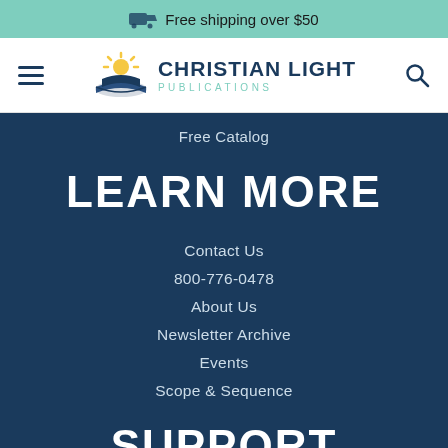Free shipping over $50
[Figure (logo): Christian Light Publications logo with sun and book graphic]
Free Catalog
LEARN MORE
Contact Us
800-776-0478
About Us
Newsletter Archive
Events
Scope & Sequence
SUPPORT